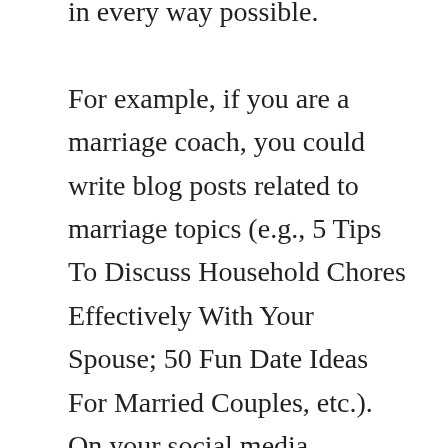in every way possible. For example, if you are a marriage coach, you could write blog posts related to marriage topics (e.g., 5 Tips To Discuss Household Chores Effectively With Your Spouse; 50 Fun Date Ideas For Married Couples, etc.). On your social media channel, you may create short videos or reels giving tips about how to have a